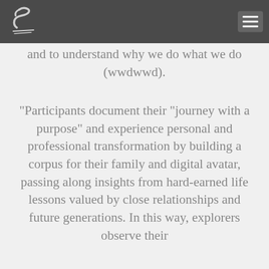S [logo] [hamburger menu]
and to understand why we do what we do (wwdwwd).
"Participants document their "journey with a purpose" and experience personal and professional transformation by building a corpus for their family and digital avatar, passing along insights from hard-earned life lessons valued by close relationships and future generations. In this way, explorers observe their